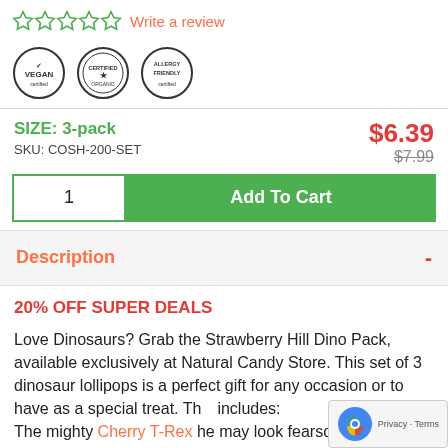☆☆☆☆☆  Write a review
[Figure (logo): Three certification badges: VEGAN, CERTIFIED (circular seal), ALLERGY FRIENDLY]
SIZE: 3-pack
SKU: COSH-200-SET
$6.39
$7.99 (strikethrough)
1  Add To Cart
Description  -
20% OFF SUPER DEALS
Love Dinosaurs? Grab the Strawberry Hill Dino Pack, available exclusively at Natural Candy Store. This set of 3 dinosaur lollipops is a perfect gift for any occasion or to have as a special treat. This includes:
The mighty Cherry T-Rex he may look fearsome,